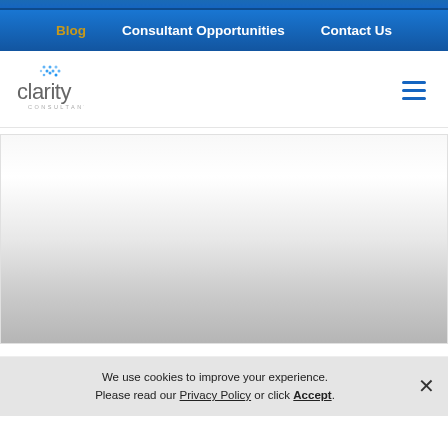Blog | Consultant Opportunities | Contact Us
[Figure (logo): Clarity Consultants logo with blue dot grid above the word 'clarity' and small 'CONSULTANTS' text below]
[Figure (illustration): Hero image section with gradient from white to gray, representing a banner/image area]
We use cookies to improve your experience. Please read our Privacy Policy or click Accept.